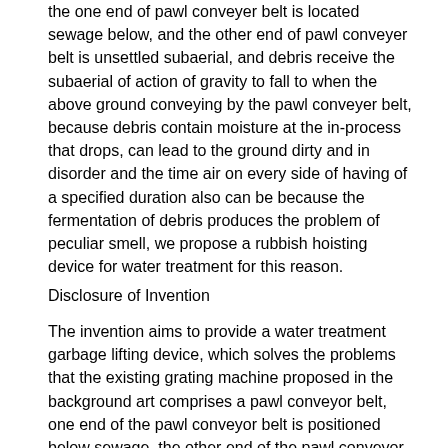the one end of pawl conveyer belt is located sewage below, and the other end of pawl conveyer belt is unsettled subaerial, and debris receive the subaerial of action of gravity to fall to when the above ground conveying by the pawl conveyer belt, because debris contain moisture at the in-process that drops, can lead to the ground dirty and in disorder and the time air on every side of having of a specified duration also can be because the fermentation of debris produces the problem of peculiar smell, we propose a rubbish hoisting device for water treatment for this reason.
Disclosure of Invention
The invention aims to provide a water treatment garbage lifting device, which solves the problems that the existing grating machine proposed in the background art comprises a pawl conveyor belt, one end of the pawl conveyor belt is positioned below sewage, the other end of the pawl conveyor belt is suspended above the ground, sundries fall onto the ground below under the action of gravity when being conveyed to the above ground by the pawl conveyor belt, and the sundries contain moisture in the falling